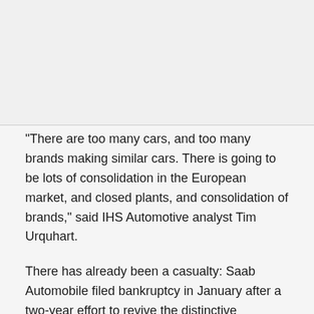[Figure (photo): Image placeholder at top of page]
"There are too many cars, and too many brands making similar cars. There is going to be lots of consolidation in the European market, and closed plants, and consolidation of brands," said IHS Automotive analyst Tim Urquhart.
There has already been a casualty: Saab Automobile filed bankruptcy in January after a two-year effort to revive the distinctive carmaker with one of the